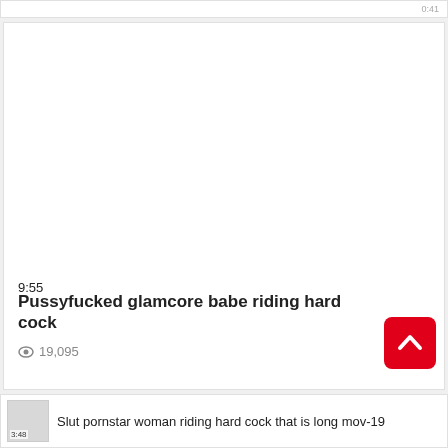[Figure (screenshot): Top partial card with gray duration text partially visible at top right]
[Figure (screenshot): Large white thumbnail area for video card]
9:55
Pussyfucked glamcore babe riding hard cock
19,095
[Figure (screenshot): Red rounded square button with white upward chevron arrow]
3:48 Slut pornstar woman riding hard cock that is long mov-19